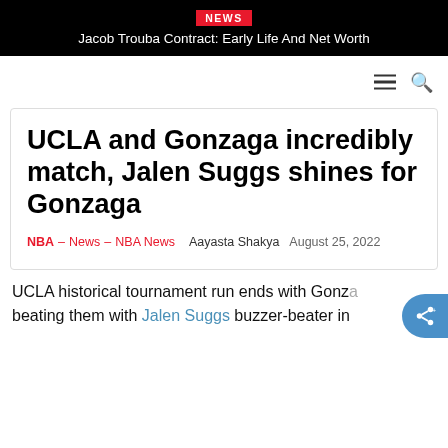NEWS — Jacob Trouba Contract: Early Life And Net Worth
UCLA and Gonzaga incredibly match, Jalen Suggs shines for Gonzaga
NBA – News – NBA News   Aayasta Shakya   August 25, 2022
UCLA historical tournament run ends with Gonzaga beating them with Jalen Suggs buzzer-beater in